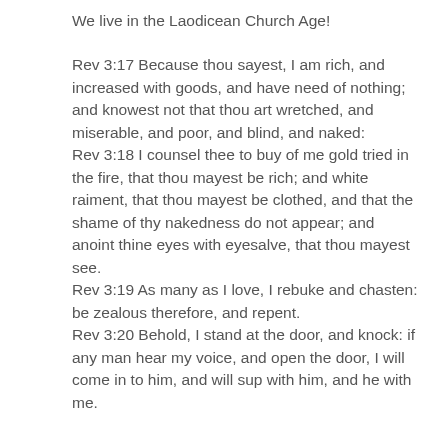We live in the Laodicean Church Age!
Rev 3:17 Because thou sayest, I am rich, and increased with goods, and have need of nothing; and knowest not that thou art wretched, and miserable, and poor, and blind, and naked:
Rev 3:18 I counsel thee to buy of me gold tried in the fire, that thou mayest be rich; and white raiment, that thou mayest be clothed, and that the shame of thy nakedness do not appear; and anoint thine eyes with eyesalve, that thou mayest see.
Rev 3:19 As many as I love, I rebuke and chasten: be zealous therefore, and repent.
Rev 3:20 Behold, I stand at the door, and knock: if any man hear my voice, and open the door, I will come in to him, and will sup with him, and he with me.